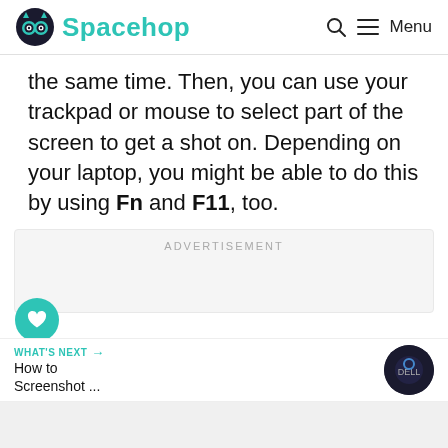Spacehop — Menu
the same time. Then, you can use your trackpad or mouse to select part of the screen to get a shot on. Depending on your laptop, you might be able to do this by using Fn and F11, too.
[Figure (other): Advertisement placeholder box]
[Figure (infographic): Social interaction buttons: heart/like button (teal), count showing 1, share button]
WHAT'S NEXT → How to Screenshot ...
[Figure (photo): Thumbnail image of a Dell laptop screen]